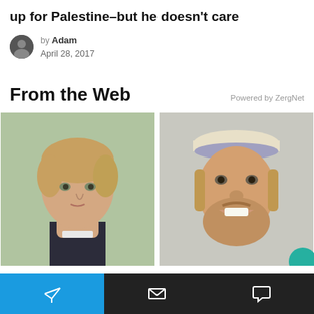up for Palestine–but he doesn't care
by Adam
April 28, 2017
From the Web
Powered by ZergNet
[Figure (photo): Two side-by-side photos: left shows a young boy with light brown hair; right shows a middle-aged man with a beard smiling, wearing a cap.]
Bottom navigation bar with send, email, and chat icons